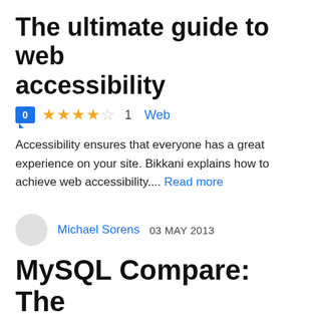The ultimate guide to web accessibility
0  ★★★★☆ 1  Web
Accessibility ensures that everyone has a great experience on your site. Bikkani explains how to achieve web accessibility.... Read more
Michael Sorens  03 MAY 2013
MySQL Compare: The Manual That Time Forgot, Part 1